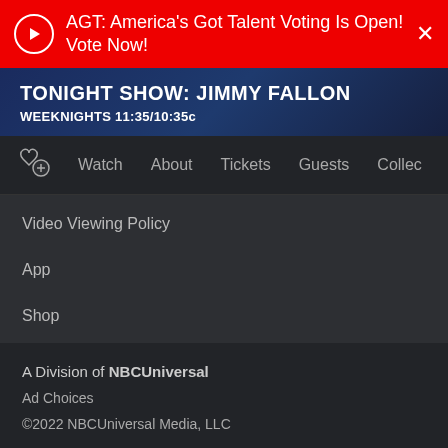AGT: America's Got Talent Voting Is Open! Vote Now!
TONIGHT SHOW: JIMMY FALLON
WEEKNIGHTS 11:35/10:35c
Watch
About
Tickets
Guests
Collec…
Video Viewing Policy
App
Shop
Peacock
A Division of NBCUniversal
Ad Choices
©2022 NBCUniversal Media, LLC